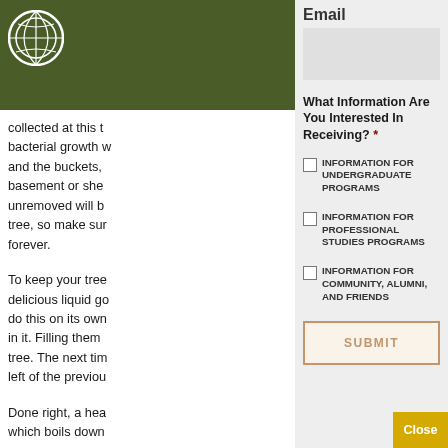[Figure (logo): Circular logo with globe/star design on dark green background]
collected at this time bacterial growth will and the buckets, basement or she unremoved will b tree, so make su forever.
To keep your tree delicious liquid g do this on its ow in it. Filling them tree. The next tim left of the previo
Done right, a hea which boils down
Email
What Information Are You Interested In Receiving? *
INFORMATION FOR UNDERGRADUATE PROGRAMS
INFORMATION FOR PROFESSIONAL STUDIES PROGRAMS
INFORMATION FOR COMMUNITY, ALUMNI, AND FRIENDS
SUBMIT
Close